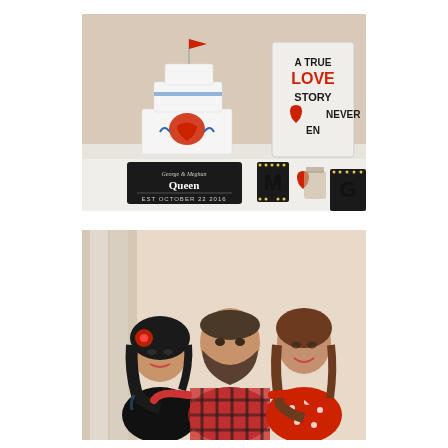[Figure (photo): Wedding reception table with a white tiered cake decorated with a tattoo-style heart design and a red flag on top, a black sign reading 'George & Meghan Queen Est October 22 2016', illuminated marquee letters M and G, a Mason jar, and a white sign reading 'A True Love Story Never Ends' with the word LOVE in red.]
[Figure (photo): Three people posing together at a wedding reception. A woman with dark hair and a red flower accessory on the left wearing black, a bearded man in a red plaid shirt in the center, and a woman with long brown hair wearing a red polka-dot dress on the right.]